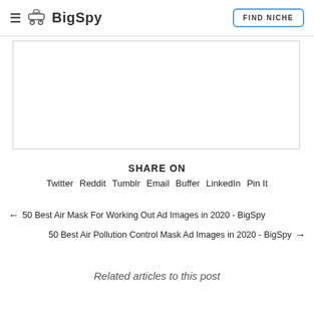BigSpy — FIND NICHE
[Figure (other): Empty ad placeholder box with border]
SHARE ON
Twitter  Reddit  Tumblr  Email  Buffer  LinkedIn  Pin It
← 50 Best Air Mask For Working Out Ad Images in 2020 - BigSpy
50 Best Air Pollution Control Mask Ad Images in 2020 - BigSpy →
Related articles to this post